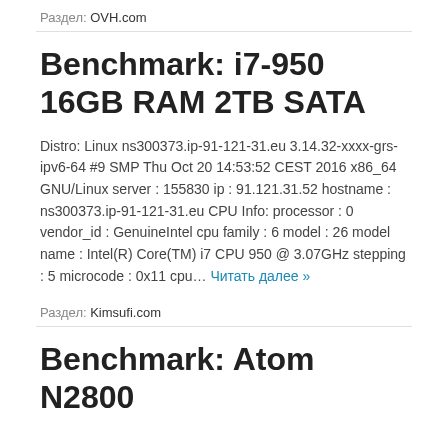Раздел: OVH.com
Benchmark: i7-950 16GB RAM 2TB SATA
Distro: Linux ns300373.ip-91-121-31.eu 3.14.32-xxxx-grs-ipv6-64 #9 SMP Thu Oct 20 14:53:52 CEST 2016 x86_64 GNU/Linux server : 155830 ip : 91.121.31.52 hostname : ns300373.ip-91-121-31.eu CPU Info: processor : 0 vendor_id : GenuineIntel cpu family : 6 model : 26 model name : Intel(R) Core(TM) i7 CPU 950 @ 3.07GHz stepping : 5 microcode : 0x11 cpu… Читать далее »
Раздел: Kimsufi.com
Benchmark: Atom N2800